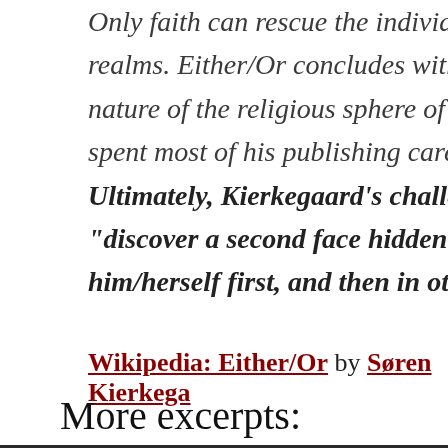Only faith can rescue the individual from the realms. Either/Or concludes with a brief sermon nature of the religious sphere of existence, who spent most of his publishing career expounding. Ultimately, Kierkegaard's challenge is for “discover a second face hidden behind the him/herself first, and then in others.
Wikipedia: Either/Or by Søren Kierkegaard
More excerpts: